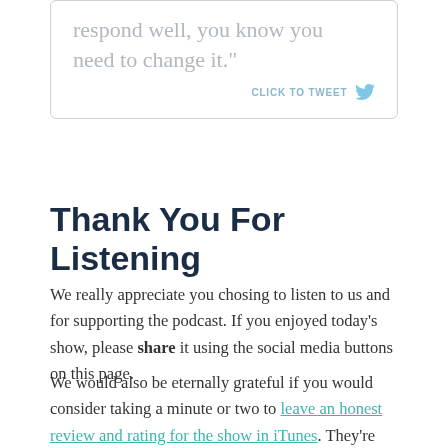respond well, you know you need to change it."
CLICK TO TWEET
Thank You For Listening
We really appreciate you chosing to listen to us and for supporting the podcast. If you enjoyed today's show, please share it using the social media buttons on this page.
We would also be eternally grateful if you would consider taking a minute or two to leave an honest review and rating for the show in iTunes. They're